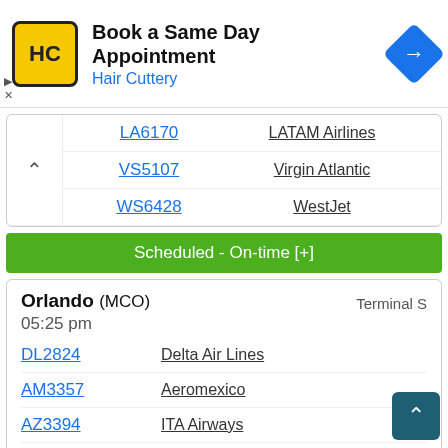[Figure (screenshot): Hair Cuttery advertisement banner: yellow logo with HC, title 'Book a Same Day Appointment', subtitle 'Hair Cuttery', blue navigation icon on right, close/skip controls on left]
| Flight | Airline |
| --- | --- |
| LA6170 | LATAM Airlines |
| VS5107 | Virgin Atlantic |
| WS6428 | WestJet |
Scheduled - On-time [+]
| Destination | Terminal | Time | Flight | Airline |
| --- | --- | --- | --- | --- |
| Orlando (MCO) | Terminal S | 05:25 pm | DL2824 | Delta Air Lines |
|  |  |  | AM3357 | Aeromexico |
|  |  |  | AZ3394 | ITA Airways |
|  |  |  | LA6100 | LATAM Airlines |
|  |  |  | VS5171 | Virgin Atlantic |
|  |  |  | WS6527 | WestJet |